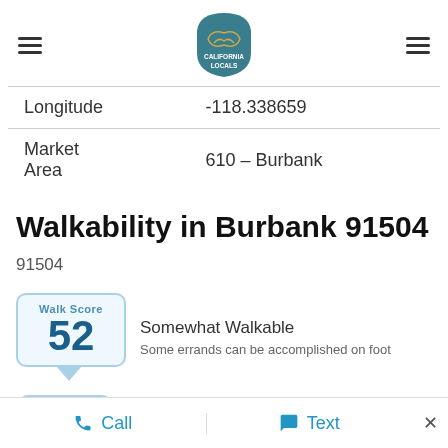California Locals logo and navigation
| Longitude | -118.338659 |
| Market Area | 610 – Burbank |
Walkability in Burbank 91504
91504
[Figure (infographic): Walk Score badge showing score of 52 with label 'Walk Score']
Somewhat Walkable
Some errands can be accomplished on foot
Call   Text   ×